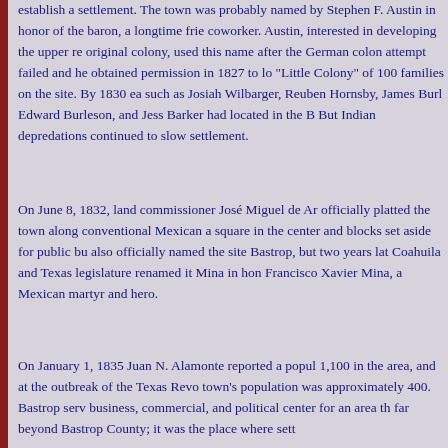establish a settlement. The town was probably named by Stephen F. Austin in honor of the baron, a longtime friend and coworker. Austin, interested in developing the upper reaches of his original colony, used this name after the German colonization attempt failed and he obtained permission in 1827 to locate a "Little Colony" of 100 families on the site. By 1830 early settlers such as Josiah Wilbarger, Reuben Hornsby, James Burleson, Edward Burleson, and Jess Barker had located in the Bastrop area. But Indian depredations continued to slow settlement.
On June 8, 1832, land commissioner José Miguel de Arciniega officially platted the town along conventional Mexican lines, with a square in the center and blocks set aside for public buildings. He also officially named the site Bastrop, but two years later the Coahuila and Texas legislature renamed it Mina in honor of Francisco Xavier Mina, a Mexican martyr and hero.
On January 1, 1835 Juan N. Alamonte reported a population of 1,100 in the area, and at the outbreak of the Texas Revolution the town's population was approximately 400. Bastrop served as a business, commercial, and political center for an area that extended far beyond Bastrop County; it was the place where sett...